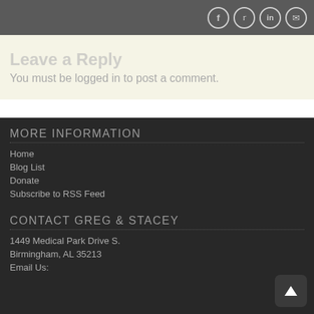[Figure (logo): Social media icons (Facebook, Twitter, LinkedIn, Email) in circles on dark grey header bar]
[Figure (logo): Awaken logo with orange/green swirl icon and tagline 'to recovery to freedom to life']
Leave a Reply
You must be logged in to post a comment.
MORE INFORMATION
Home
Blog List
Donate
Subscribe to RSS Feed
CONTACT GREG & STACEY
1449 Medical Park Drive S.
Birmingham, AL 35213
Email Us: